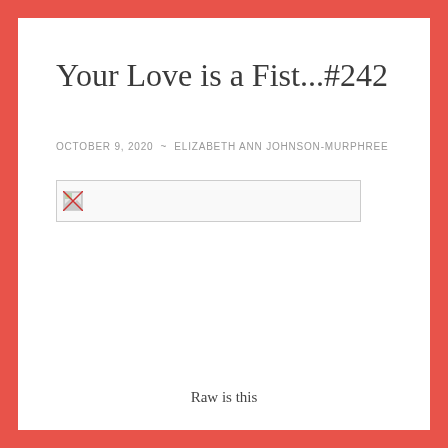Your Love is a Fist...#242
OCTOBER 9, 2020 ~ ELIZABETH ANN JOHNSON-MURPHREE
[Figure (photo): Broken/unloaded image placeholder with small broken image icon]
Raw is this